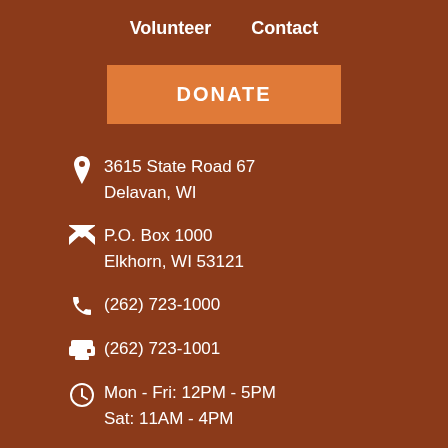Volunteer    Contact
DONATE
3615 State Road 67
Delavan, WI
P.O. Box 1000
Elkhorn, WI 53121
(262) 723-1000
(262) 723-1001
Mon - Fri: 12PM - 5PM
Sat: 11AM - 4PM